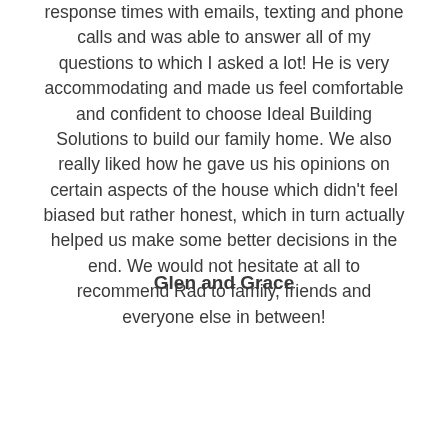response times with emails, texting and phone calls and was able to answer all of my questions to which I asked a lot! He is very accommodating and made us feel comfortable and confident to choose Ideal Building Solutions to build our family home. We also really liked how he gave us his opinions on certain aspects of the house which didn't feel biased but rather honest, which in turn actually helped us make some better decisions in the end. We would not hesitate at all to recommend Rad to family, friends and everyone else in between!
Glen and Grace